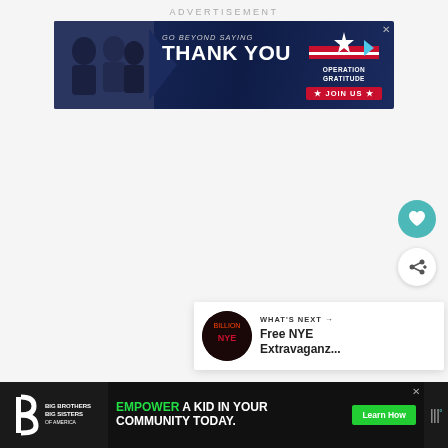ADVERTISEMENT
[Figure (illustration): Banner ad: GO BEYOND SAYING THANK YOU - Operation Gratitude JOIN US. Dark blue background with people and Operation Gratitude logo with stars and arrow.]
[Figure (illustration): Teal circular button with heart icon (favorite/like button)]
[Figure (illustration): White circular button with share icon]
[Figure (illustration): WHAT'S NEXT card with NYE thumbnail image and text: Free NYE Extravaganz...]
[Figure (illustration): Bottom advertisement bar: Big Brothers Big Sisters logo on left. Center ad reads: EMPOWER A KID IN YOUR COMMUNITY TODAY. with Learn How button. Right side shows weather widget logo.]